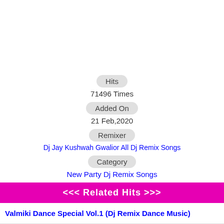Hits
71496 Times
Added On
21 Feb,2020
Remixer
Dj Jay Kushwah Gwalior All Dj Remix Songs
Category
New Party Dj Remix Songs
<<< Related Hits >>>
Valmiki Dance Special Vol.1 (Dj Remix Dance Music)
Jai Bhim Dialouge Special Vol.1 (Dj Remix Dance Music)
Bajrangi Superhit Vol.1 (Dj Remix Dance Music)